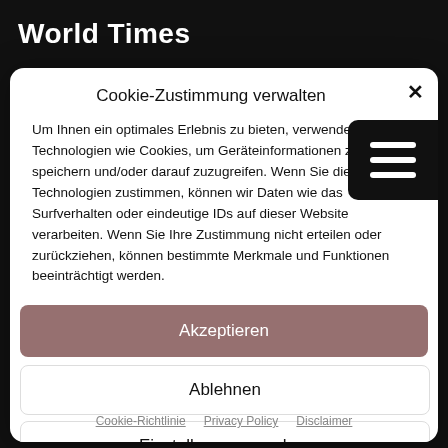World Times
Cookie-Zustimmung verwalten
Um Ihnen ein optimales Erlebnis zu bieten, verwenden wir Technologien wie Cookies, um Geräteinformationen zu speichern und/oder darauf zuzugreifen. Wenn Sie diesen Technologien zustimmen, können wir Daten wie das Surfverhalten oder eindeutige IDs auf dieser Website verarbeiten. Wenn Sie Ihre Zustimmung nicht erteilen oder zurückziehen, können bestimmte Merkmale und Funktionen beeinträchtigt werden.
Akzeptieren
Ablehnen
Einstellungen ansehen
Cookie-Richtlinie   Privacy Policy   Disclaimer